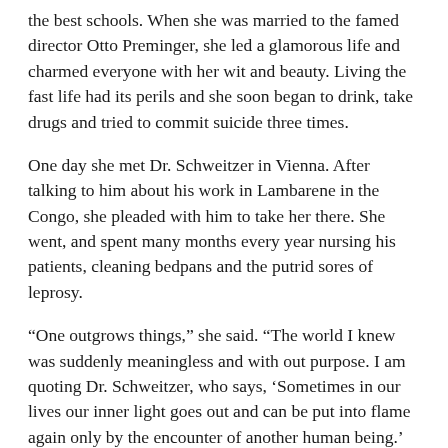the best schools. When she was married to the famed director Otto Preminger, she led a glamorous life and charmed everyone with her wit and beauty. Living the fast life had its perils and she soon began to drink, take drugs and tried to commit suicide three times.
One day she met Dr. Schweitzer in Vienna. After talking to him about his work in Lambarene in the Congo, she pleaded with him to take her there. She went, and spent many months every year nursing his patients, cleaning bedpans and the putrid sores of leprosy.
“One outgrows things,” she said. “The world I knew was suddenly meaningless and with out purpose. I am quoting Dr. Schweitzer, who says, ‘Sometimes in our lives our inner light goes out and can be put into flame again only by the encounter of another human being.’ Albert Schweitzer is such a human being. I was so impressed with the idol of my childhood that I became his most faithful follower.”
May we surround ourselves with people who can enliven the